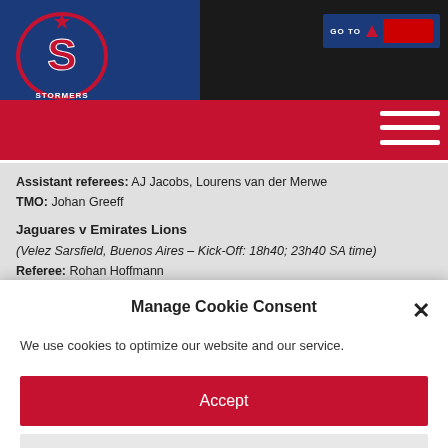[Figure (logo): Stormers rugby team logo — oval shape with 'S' and 'STORMERS' text, blue and red]
[Figure (logo): DHL sponsor logo — yellow and red text on white background]
Assistant referees: AJ Jacobs, Lourens van der Merwe
TMO: Johan Greeff
Jaguares v Emirates Lions
(Velez Sarsfield, Buenos Aires – Kick-Off: 18h40; 23h40 SA time)
Referee: Rohan Hoffmann
Assistant referees: Angus Gardner, Federico Anselmi
TMO: Santiago Borsani
Manage Cookie Consent
We use cookies to optimize our website and our service.
Accept
Deny